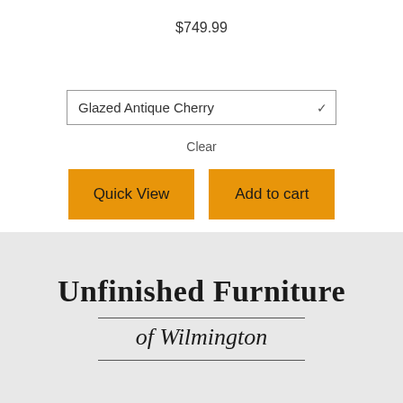$749.99
Glazed Antique Cherry
Clear
Quick View
Add to cart
[Figure (logo): Unfinished Furniture of Wilmington logo with serif font, horizontal rules above and below italic subtitle on gray background]